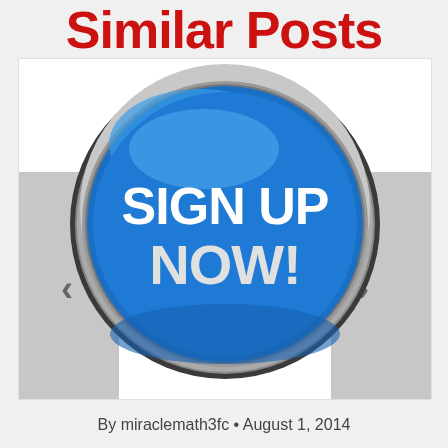Similar Posts
[Figure (illustration): A blue circular button with metallic silver rim and white bold text reading SIGN UP NOW!]
By miraclemath3fc • August 1, 2014